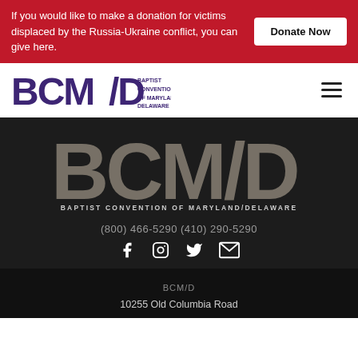If you would like to make a donation for victims displaced by the Russia-Ukraine conflict, you can give here.
Donate Now
[Figure (logo): BCMD Baptist Convention of Maryland/Delaware logo in purple]
[Figure (logo): Large BCMD Baptist Convention of Maryland/Delaware logo on dark background]
(800) 466-5290 (410) 290-5290
[Figure (other): Social media icons: Facebook, Instagram, Twitter, Email]
BCM/D
10255 Old Columbia Road